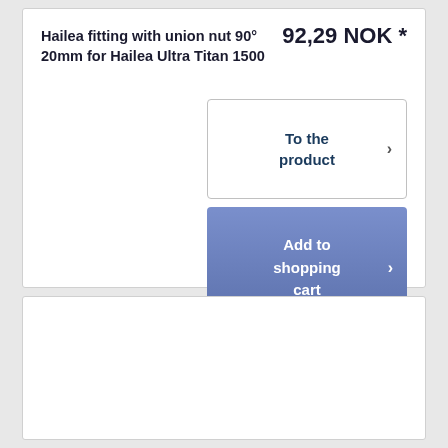Hailea fitting with union nut 90° 20mm for Hailea Ultra Titan 1500
92,29 NOK *
To the product ›
Add to shopping cart ›